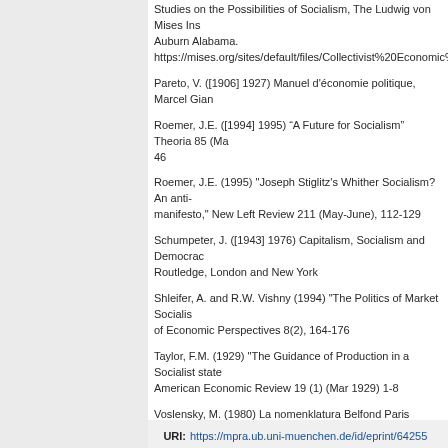Studies on the Possibilities of Socialism, The Ludwig von Mises Institute, Auburn Alabama. https://mises.org/sites/default/files/Collectivist%20Economic%20Pl
Pareto, V. ([1906] 1927) Manuel d'économie politique, Marcel Gian
Roemer, J.E. ([1994] 1995) “A Future for Socialism” Theoria 85 (Ma 46
Roemer, J.E. (1995) "Joseph Stiglitz's Whither Socialism? An anti-manifesto," New Left Review 211 (May-June), 112-129
Schumpeter, J. ([1943] 1976) Capitalism, Socialism and Democracy, Routledge, London and New York
Shleifer, A. and R.W. Vishny (1994) "The Politics of Market Socialism," Journal of Economic Perspectives 8(2), 164-176
Taylor, F.M. (1929) "The Guidance of Production in a Socialist state," American Economic Review 19 (1) (Mar 1929) 1-8
Voslensky, M. (1980) La nomenklatura Belfond Paris
Yunker, J.A. (1995) "Post-Lange Market Socialism: an Evaluation of Market-Oriented Proposals" From: Journal of Economic Issues, Sep 1995, www.wiu.edu/users/miecon/wiu/Yunker/postlang.htm
URI: https://mpra.ub.uni-muenchen.de/id/eprint/64255